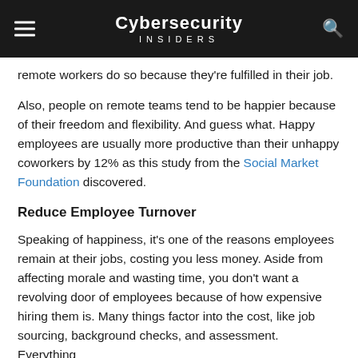Cybersecurity Insiders
remote workers do so because they're fulfilled in their job.
Also, people on remote teams tend to be happier because of their freedom and flexibility. And guess what. Happy employees are usually more productive than their unhappy coworkers by 12% as this study from the Social Market Foundation discovered.
Reduce Employee Turnover
Speaking of happiness, it's one of the reasons employees remain at their jobs, costing you less money. Aside from affecting morale and wasting time, you don't want a revolving door of employees because of how expensive hiring them is. Many things factor into the cost, like job sourcing, background checks, and assessment. Everything